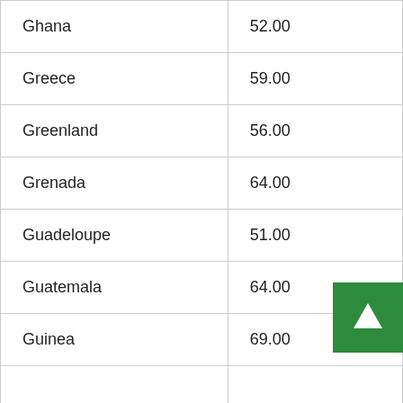| Country | Value |
| --- | --- |
| Ghana | 52.00 |
| Greece | 59.00 |
| Greenland | 56.00 |
| Grenada | 64.00 |
| Guadeloupe | 51.00 |
| Guatemala | 64.00 |
| Guinea | 69.00 |
|  |  |